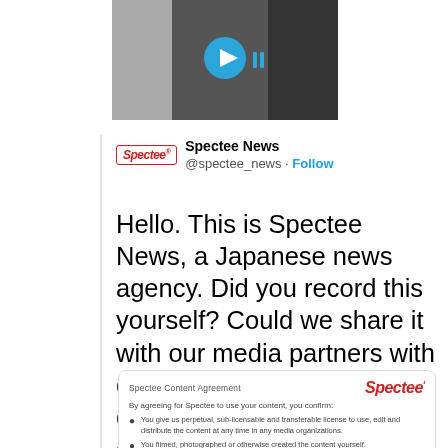[Figure (screenshot): Video thumbnail showing interior corridor or hallway, with a blue circular play button overlay in the center]
Spectee News @spectee_news · Follow
Hello. This is Spectee News, a Japanese news agency. Did you record this yourself? Could we share it with our media partners with credit to you? Also if you could tell us the video's date/time/location?
Spectee Content Agreement
By agreeing for Spectee to use your content, you confirm:
• You give us perpetual, sub-licensable and transferable license to use, edit and distribute the content at any time in any media organizations.
• You filmed, photographed or otherwise created the content yourself.
Allowing Spectee to use your content does not affect your rights: you will still own the copyright.